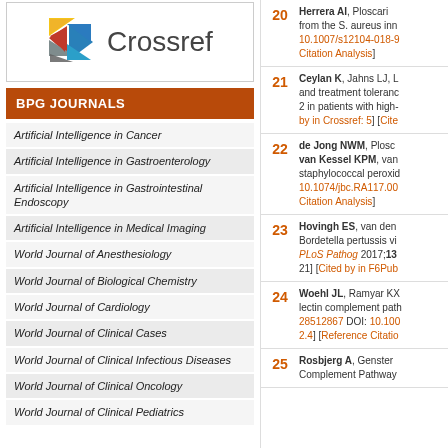[Figure (logo): Crossref logo with geometric arrow icon]
BPG JOURNALS
Artificial Intelligence in Cancer
Artificial Intelligence in Gastroenterology
Artificial Intelligence in Gastrointestinal Endoscopy
Artificial Intelligence in Medical Imaging
World Journal of Anesthesiology
World Journal of Biological Chemistry
World Journal of Cardiology
World Journal of Clinical Cases
World Journal of Clinical Infectious Diseases
World Journal of Clinical Oncology
World Journal of Clinical Pediatrics
20 — Herrera AI, Ploscari... from the S. aureus inn... 10.1007/s12104-018-9... Citation Analysis]
21 — Ceylan K, Jahns LJ, L... and treatment toleranc... 2 in patients with high-... by in Crossref: 5] [Cite...
22 — de Jong NWM, Plosc... van Kessel KPM, van... staphylococcal peroxid... 10.1074/jbc.RA117.00... Citation Analysis]
23 — Hovingh ES, van den... Bordetella pertussis vi... PLoS Pathog 2017;13... 21] [Cited by in F6Pub...
24 — Woehl JL, Ramyar KX... lectin complement path... 28512867 DOI: 10.100... 2.4] [Reference Citatio...
25 — Rosbjerg A, Genster... Complement Pathway...